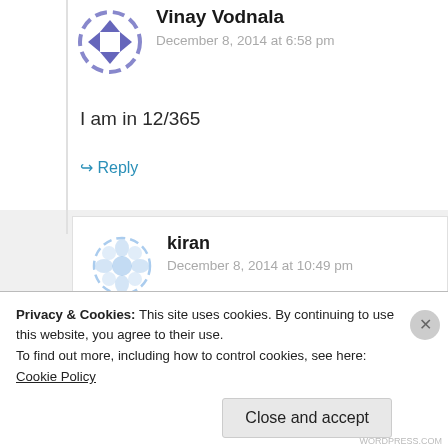Vinay Vodnala
December 8, 2014 at 6:58 pm
I am in 12/365
↪ Reply
kiran
December 8, 2014 at 10:49 pm
Good inspiring story good job bro
Privacy & Cookies: This site uses cookies. By continuing to use this website, you agree to their use. To find out more, including how to control cookies, see here: Cookie Policy
Close and accept